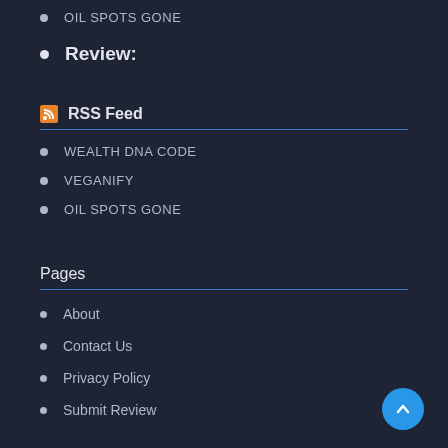OIL SPOTS GONE
Review:
RSS Feed
WEALTH DNA CODE
VEGANIFY
OIL SPOTS GONE
Pages
About
Contact Us
Privacy Policy
Submit Review